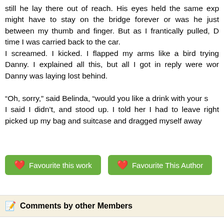still he lay there out of reach. His eyes held the same exp might have to stay on the bridge forever or was he just between my thumb and finger. But as I frantically pulled, D time I was carried back to the car.
I screamed. I kicked. I flapped my arms like a bird trying Danny. I explained all this, but all I got in reply were wor Danny was laying lost behind.

“Oh, sorry,” said Belinda, “would you like a drink with your s I said I didn’t, and stood up. I told her I had to leave right picked up my bag and suitcase and dragged myself away
[Figure (other): Two green buttons: 'Favourite this work' and 'Favourite This Author', each with a red heart icon on the left.]
Comments by other Members